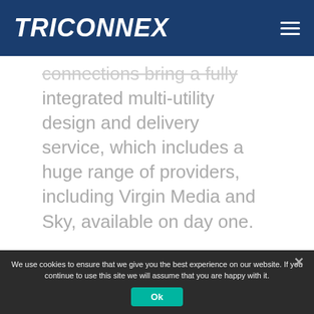TriConnex
connections bring a fully integrated multi-utility design and delivery service, which includes a huge range of providers, including Virgin Media and Sky, available on day one.
We use cookies to ensure that we give you the best experience on our website. If you continue to use this site we will assume that you are happy with it.